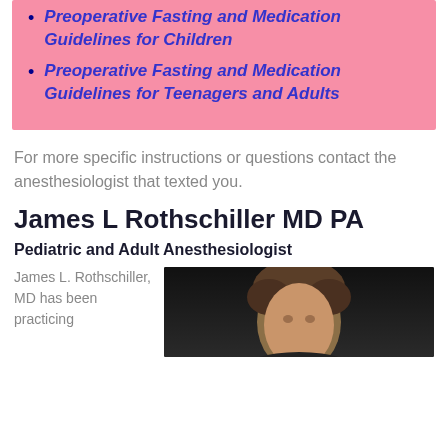Preoperative Fasting and Medication Guidelines for Children
Preoperative Fasting and Medication Guidelines for Teenagers and Adults
For more specific instructions or questions contact the anesthesiologist that texted you.
James L Rothschiller MD PA
Pediatric and Adult Anesthesiologist
James L. Rothschiller, MD has been practicing
[Figure (photo): Portrait photo of James L. Rothschiller MD, a person with brown hair against a dark background]